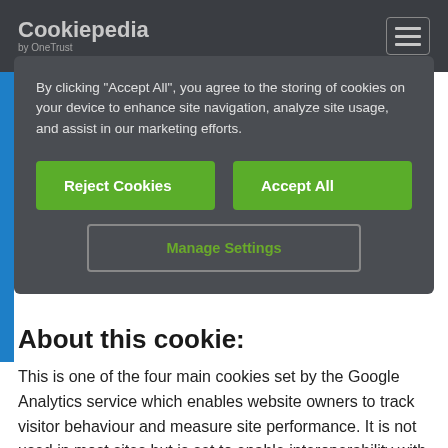Cookiepedia
By clicking “Accept All”, you agree to the storing of cookies on your device to enhance site navigation, analyze site usage, and assist in our marketing efforts.
Reject Cookies
Accept All
Manage Settings
About this cookie:
This is one of the four main cookies set by the Google Analytics service which enables website owners to track visitor behaviour and measure site performance. It is not used in most sites but is set to enable interoperability with the older version of